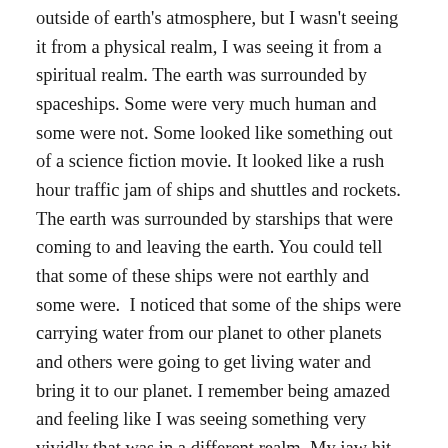outside of earth's atmosphere, but I wasn't seeing it from a physical realm, I was seeing it from a spiritual realm. The earth was surrounded by spaceships. Some were very much human and some were not. Some looked like something out of a science fiction movie. It looked like a rush hour traffic jam of ships and shuttles and rockets. The earth was surrounded by starships that were coming to and leaving the earth. You could tell that some of these ships were not earthly and some were.  I noticed that some of the ships were carrying water from our planet to other planets and others were going to get living water and bring it to our planet. I remember being amazed and feeling like I was seeing something very vividly that was in a different realm. My jaw hit the floor and something inside me leaped.
“Papa, what is this?” I asked. Then He explained